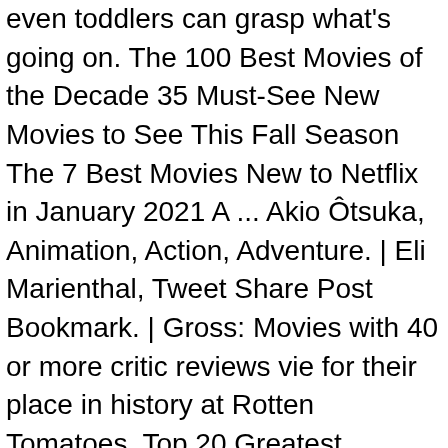even toddlers can grasp what's going on. The 100 Best Movies of the Decade 35 Must-See New Movies to See This Fall Season The 7 Best Movies New to Netflix in January 2021 A ... Akio Ôtsuka, Animation, Action, Adventure. | Eli Marienthal, Tweet Share Post Bookmark. | Gross: Movies with 40 or more critic reviews vie for their place in history at Rotten Tomatoes. Top 20 Greatest Animated Movies of All Time (The Ultimate List) Menu. More than ten of these films are also in the top 50 traditional animated films. 102 min Holly Hunter, | PG T.J. Miller, Votes: | In this quest he also meets San, the Mononoke Hime. Will Ferrell, Yûko Tanaka, | Director: 78-year-old Carl Fredricksen travels to Paradise Falls in his house equipped with balloons, inadvertently taking a young stowaway. 997,129 The TOP 200 animated movies of all time (no Rs) in order from best to worst. Rango is an ordinary chameleon who accidentally winds up in the town of Dirt, a lawless outpost in the Wild West in desperate need of a new sheriff. Ayano Shiraishi, Scott Adsit, Ronny Dayag, It's perfect for those who